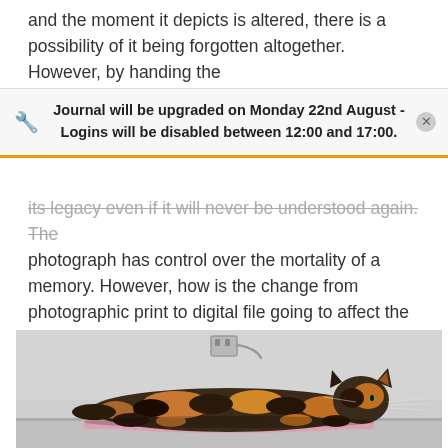and the moment it depicts is altered, there is a possibility of it being forgotten altogether. However, by handing the
Journal will be upgraded on Monday 22nd August - Logins will be disabled between 12:00 and 17:00.
its legacy even if it will never be understood again. The photograph has control over the mortality of a memory. However, how is the change from photographic print to digital file going to affect the emotions attached to a photographic image? (Figure 4)
[Figure (photo): A tortoiseshell cat lying flat on a pink blanket/cloth on a light grey table or examination surface. The background shows a light grey wall with a wall socket visible. The cat appears relaxed or sedated, lying stretched out.]